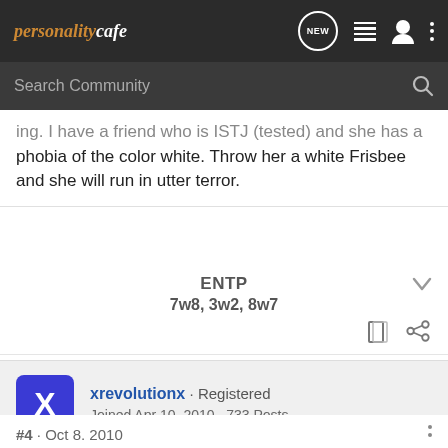personalitycafe — navigation header with search bar
...ing. I have a friend who is ISTJ (tested) and she has a phobia of the color white. Throw her a white Frisbee and she will run in utter terror.
ENTP
7w8, 3w2, 8w7
xrevolutionx · Registered
Joined Apr 10, 2010 · 733 Posts
#4 · Oct 8, 2010
Oh, and a coworker of mine that is ENFJ (tested as well), is